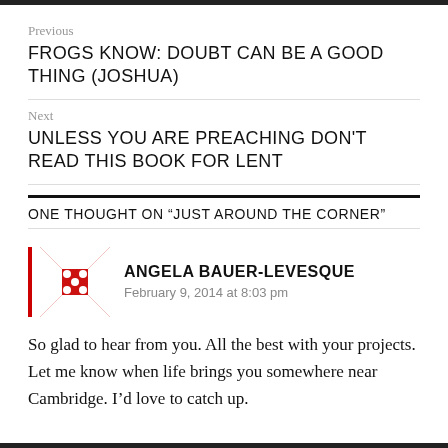Previous
FROGS KNOW: DOUBT CAN BE A GOOD THING (JOSHUA)
Next
UNLESS YOU ARE PREACHING DON'T READ THIS BOOK FOR LENT
ONE THOUGHT ON “JUST AROUND THE CORNER”
ANGELA BAUER-LEVESQUE
February 9, 2014 at 8:03 pm
So glad to hear from you. All the best with your projects. Let me know when life brings you somewhere near Cambridge. I’d love to catch up.